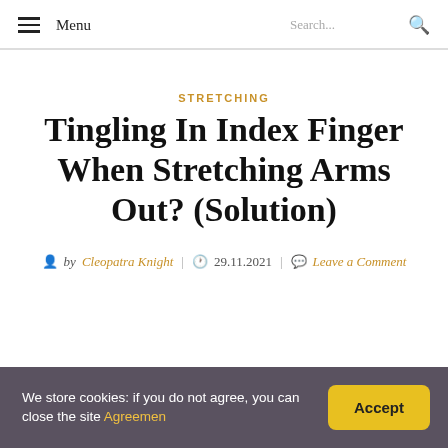Menu | Search...
STRETCHING
Tingling In Index Finger When Stretching Arms Out? (Solution)
by Cleopatra Knight | 29.11.2021 | Leave a Comment
We store cookies: if you do not agree, you can close the site Agreemen